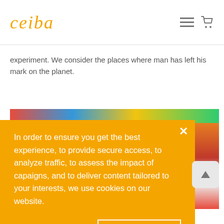ceiba
experiment. We consider the places where man has left his mark on the planet.
[Figure (screenshot): Colorful image partially visible behind a cookie consent modal overlay]
In order to ensure you get the best experience, to provide secure access, to analyze traffic, to assess the impact of capaigns, and to deliver content tailored to your interests, we use cookies on our website.
Decline   Accept
series